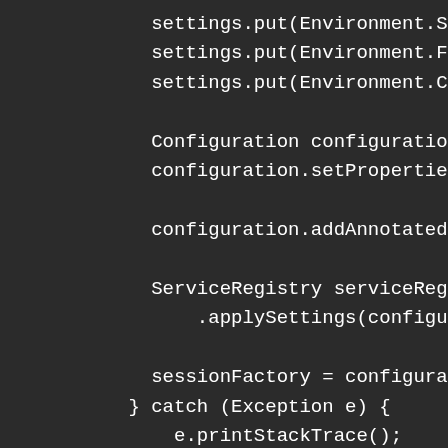[Figure (screenshot): Dark-theme code editor screenshot showing Java code snippet with settings.put calls, Configuration object creation, configuration.setProperties, configuration.addAnnotatedClass, ServiceRegistry creation with applySettings, sessionFactory assignment, catch block with e.printStackTrace(), closing braces, and return sessionFactory statement.]